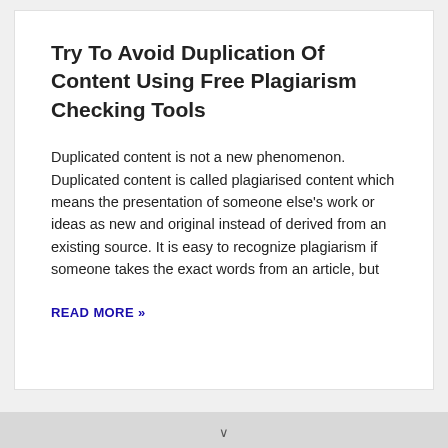Try To Avoid Duplication Of Content Using Free Plagiarism Checking Tools
Duplicated content is not a new phenomenon. Duplicated content is called plagiarised content which means the presentation of someone else's work or ideas as new and original instead of derived from an existing source. It is easy to recognize plagiarism if someone takes the exact words from an article, but
READ MORE »